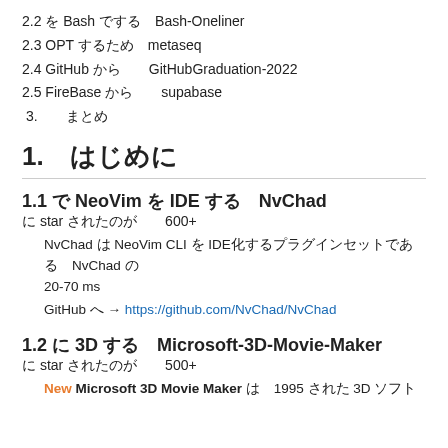2.2 を Bash でするBash-Oneliner
2.3 OPT するためmetaseq
2.4 GitHub からGitHubGraduation-2022
2.5 FireBase からsupabase
3.　まとめ
1.　はじめに
1.1 で NeoVim を IDE するNvChad
に star されたのが600+
NvChad は NeoVim CLI を IDE化するプラグインセットであるNvChad のは 20-70 ms。
GitHub へ → https://github.com/NvChad/NvChad
1.2 に 3D するMicrosoft-3D-Movie-Maker
に star されたのが500+
New Microsoft 3D Movie Maker は1995 された 3D ソフト